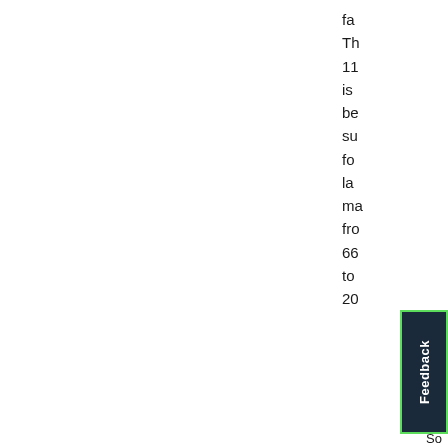fa
Th
11
is
be
su
fo
la
ma
fro
66
to
20
So